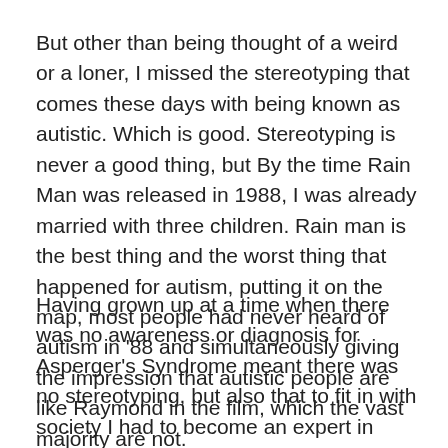But other than being thought of a weird or a loner, I missed the stereotyping that comes these days with being known as autistic. Which is good. Stereotyping is never a good thing, but By the time Rain Man was released in 1988, I was already married with three children. Rain man is the best thing and the worst thing that happened for autism, putting it on the map, most people had never heard of autism in '88 and simultaneously giving the impression that autistic people are like Raymond in the film, which the vast majority are not.
Having grown up at a time when there was no awareness or diagnosis for Asperger's Syndrome meant there was no stereotyping, but also that to fit in with society I had to become an expert in masking, putting on a character in order to fit in with the expectations of others. I got quite